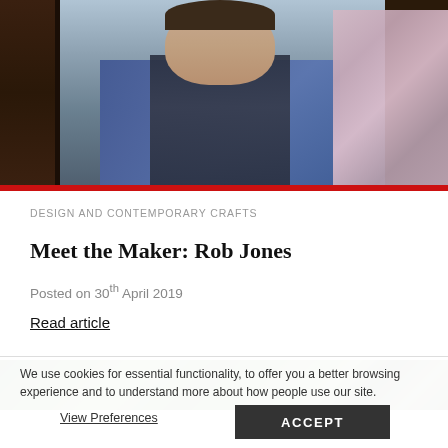[Figure (photo): Photo of Rob Jones, a man wearing a blue floral shirt and dark vest, sitting in front of a dark leather couch and a decorative lamp shade on the right]
DESIGN AND CONTEMPORARY CRAFTS
Meet the Maker: Rob Jones
Posted on 30th April 2019
Read article
[Figure (photo): Partially visible photo showing green trees/foliage]
We use cookies for essential functionality, to offer you a better browsing experience and to understand more about how people use our site.
View Preferences
ACCEPT